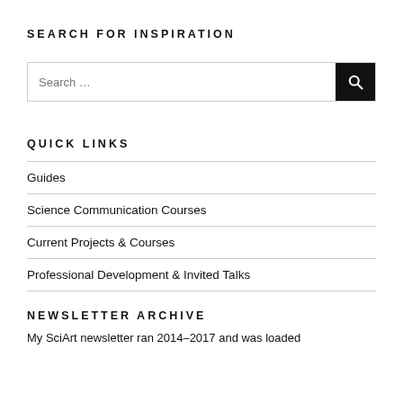SEARCH FOR INSPIRATION
[Figure (other): Search input box with a black search button on the right containing a magnifying glass icon. Placeholder text: Search ...]
QUICK LINKS
Guides
Science Communication Courses
Current Projects & Courses
Professional Development & Invited Talks
NEWSLETTER ARCHIVE
My SciArt newsletter ran 2014–2017 and was loaded